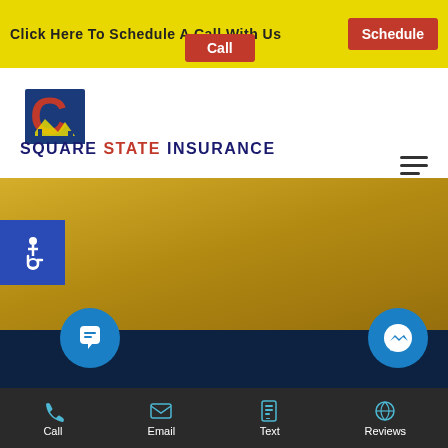Click Here To Schedule A Call With Us
Schedule Call
[Figure (logo): Square State Insurance logo with Colorado C shape in blue and red]
SQUARE STATE INSURANCE
[Figure (photo): Interior view of car ceiling/roof in golden/yellow tones]
[Figure (illustration): Accessibility wheelchair icon on blue background]
[Figure (other): Google reviews chat bubble icon (blue circle with chat icon)]
[Figure (other): Facebook Messenger icon (blue circle with lightning bolt)]
Call
Email
Text
Reviews